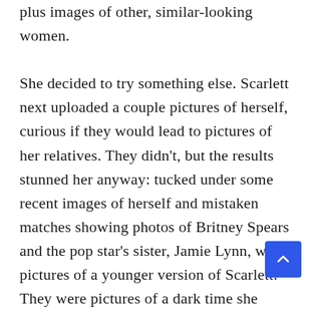plus images of other, similar-looking women.

She decided to try something else. Scarlett next uploaded a couple pictures of herself, curious if they would lead to pictures of her relatives. They didn't, but the results stunned her anyway: tucked under some recent images of herself and mistaken matches showing photos of Britney Spears and the pop star's sister, Jamie Lynn, were pictures of a younger version of Scarlett. They were pictures of a dark time she didn't totally remember —a time at age 19